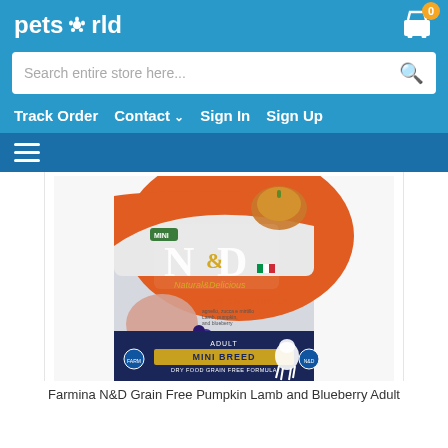pets world
Search entire store here...
Track Order   Contact   Sign In   Sign Up
[Figure (photo): Farmina N&D grain free pumpkin lamb and blueberry adult mini breed dry dog food bag]
Farmina N&D Grain Free Pumpkin Lamb and Blueberry Adult